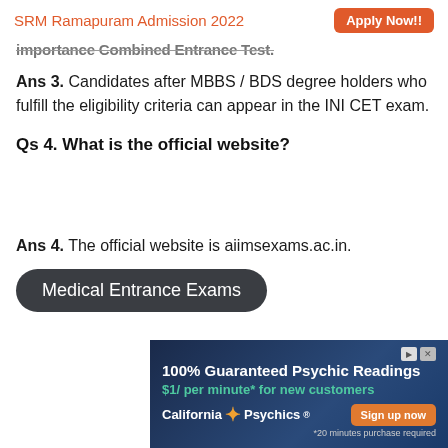SRM Ramapuram Admission 2022  Apply Now!!
importance Combined Entrance Test.
Ans 3. Candidates after MBBS / BDS degree holders who fulfill the eligibility criteria can appear in the INI CET exam.
Qs 4. What is the official website?
Ans 4. The official website is aiimsexams.ac.in.
Medical Entrance Exams
[Figure (other): Advertisement banner for California Psychics: '100% Guaranteed Psychic Readings, $1/ per minute* for new customers, California Psychics, Sign up now, *20 minutes purchase required']